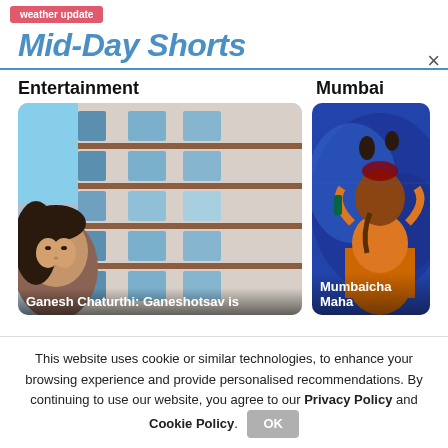weather update
Mid-Day Shorts
Entertainment
Mumbai
[Figure (photo): Building exterior with windows and a woman's face in the lower left corner]
Ganesh Chaturthi: Ganeshotsav is
[Figure (photo): Colorful Ganesh idol artwork on blue background]
Mumbaicha Maha
This website uses cookie or similar technologies, to enhance your browsing experience and provide personalised recommendations. By continuing to use our website, you agree to our Privacy Policy and Cookie Policy.